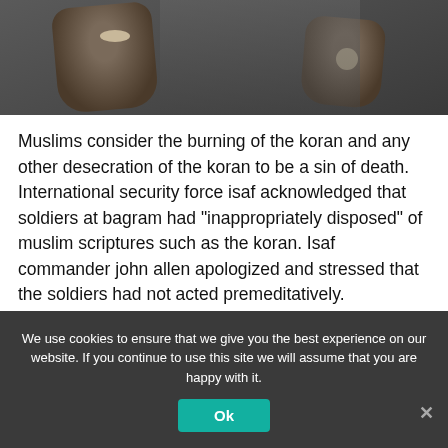[Figure (photo): Dark photograph showing people in dark clothing, hands visible in foreground]
Muslims consider the burning of the koran and any other desecration of the koran to be a sin of death. International security force isaf acknowledged that soldiers at bagram had "inappropriately disposed" of muslim scriptures such as the koran. Isaf commander john allen apologized and stressed that the soldiers had not acted premeditatively.
U.S. Defense secretary leon panetta spoke of a "most regrettable incident" that he strongly condemned. "These
We use cookies to ensure that we give you the best experience on our website. If you continue to use this site we will assume that you are happy with it.